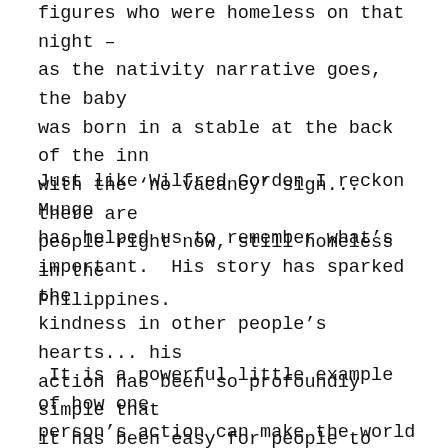figures who were homeless on that night – as the nativity narrative goes, the baby was born in a stable at the back of the inn with the 'no vacancy' sign... there are people right now, still homeless in the Philippines.
Just like Wilfred Gordon I reckon Mungo has helped us to remember what's important.  His story has sparked the kindness in other people's hearts... his action has been so profoundly simple that it has been easy for people to support and join Mungo in his cause.
It is a powerful little example of how one person's action can make the world a better place and on this occasion that